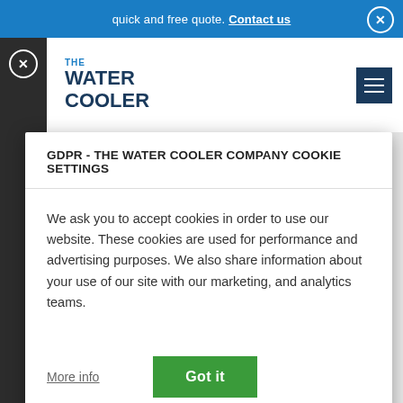quick and free quote. Contact us
[Figure (logo): The Water Cooler Company logo with blue text]
GDPR - THE WATER COOLER COMPANY COOKIE SETTINGS
We ask you to accept cookies in order to use our website. These cookies are used for performance and advertising purposes. We also share information about your use of our site with our marketing, and analytics teams.
More info
Got it